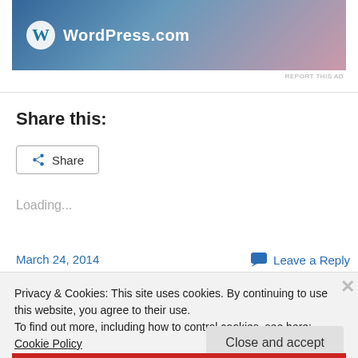[Figure (logo): WordPress.com banner with logo and gradient background (blue to pink)]
REPORT THIS AD
Share this:
[Figure (other): Share button with share icon]
Loading...
March 24, 2014
Leave a Reply
Privacy & Cookies: This site uses cookies. By continuing to use this website, you agree to their use.
To find out more, including how to control cookies, see here: Cookie Policy
Close and accept